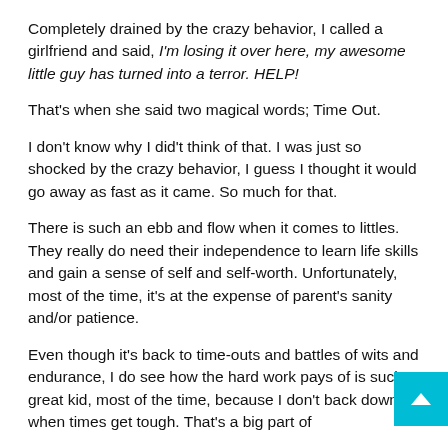Completely drained by the crazy behavior, I called a girlfriend and said, I'm losing it over here, my awesome little guy has turned into a terror. HELP!
That's when she said two magical words; Time Out.
I don't know why I did't think of that. I was just so shocked by the crazy behavior, I guess I thought it would go away as fast as it came. So much for that.
There is such an ebb and flow when it comes to littles. They really do need their independence to learn life skills and gain a sense of self and self-worth. Unfortunately, most of the time, it's at the expense of parent's sanity and/or patience.
Even though it's back to time-outs and battles of wits and endurance, I do see how the hard work pays of is such a great kid, most of the time, because I don't back down when times get tough. That's a big part of